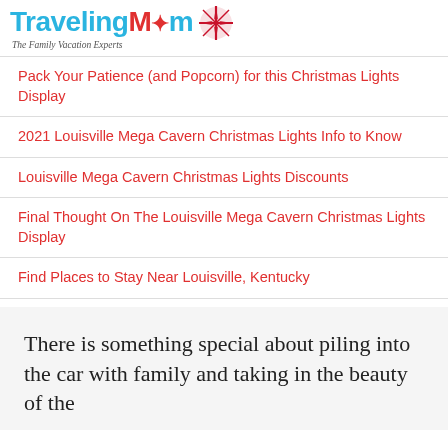TravelingMom — The Family Vacation Experts
Pack Your Patience (and Popcorn) for this Christmas Lights Display
2021 Louisville Mega Cavern Christmas Lights Info to Know
Louisville Mega Cavern Christmas Lights Discounts
Final Thought On The Louisville Mega Cavern Christmas Lights Display
Find Places to Stay Near Louisville, Kentucky
There is something special about piling into the car with family and taking in the beauty of the